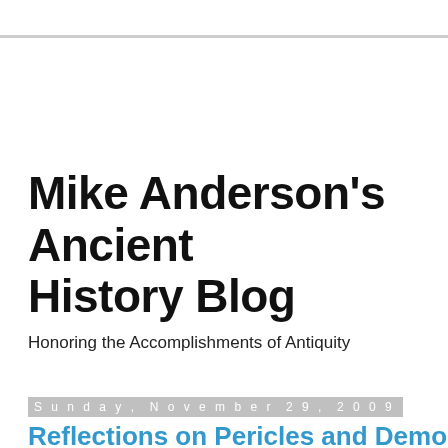Mike Anderson's Ancient History Blog
Honoring the Accomplishments of Antiquity
Sunday, November 29, 2009
Reflections on Pericles and Democracy
Let's take an objective look at Pericles defense of democracy and separate political rhetoric and the occasion of a funeral from the reality of the Athenian Polis in 431 B.C. It was a stirring speech, designed to honor the dead and